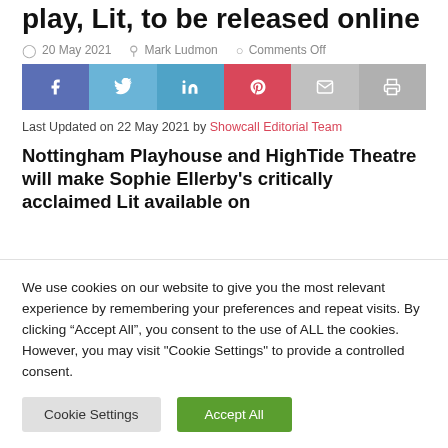play, Lit, to be released online
20 May 2021  Mark Ludmon  Comments Off
[Figure (infographic): Social share buttons: Facebook, Twitter, LinkedIn, Pinterest, Email, Print]
Last Updated on 22 May 2021 by Showcall Editorial Team
Nottingham Playhouse and HighTide Theatre will make Sophie Ellerby's critically acclaimed Lit available on
We use cookies on our website to give you the most relevant experience by remembering your preferences and repeat visits. By clicking “Accept All”, you consent to the use of ALL the cookies. However, you may visit "Cookie Settings" to provide a controlled consent.